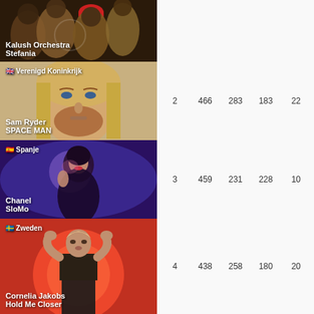[Figure (photo): Kalush Orchestra performing on stage, group photo in fur coats and hats, dark background]
Kalush Orchestra
Stefania
[Figure (photo): Sam Ryder with long blonde hair and beard, close-up portrait]
🇬🇧 Verenigd Koninkrijk
Sam Ryder
SPACE MAN
2    466    283    183    22
[Figure (photo): Chanel performing, dark blue/purple light, artistic pose]
🇪🇸 Spanje
Chanel
SloMo
3    459    231    228    10
[Figure (photo): Cornelia Jakobs performing, red/orange circular light background, dark dress]
🇸🇪 Zweden
Cornelia Jakobs
Hold Me Closer
4    438    258    180    20